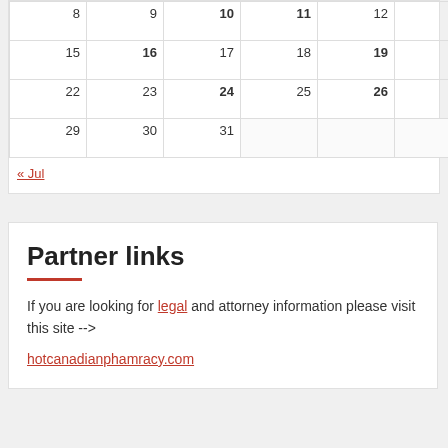| 8 | 9 | 10 | 11 | 12 | 13 | 14 |
| 15 | 16 | 17 | 18 | 19 | 20 | 21 |
| 22 | 23 | 24 | 25 | 26 | 27 | 28 |
| 29 | 30 | 31 |  |  |  |  |
« Jul
Partner links
If you are looking for legal and attorney information please visit this site --> hotcanadianphamracy.com